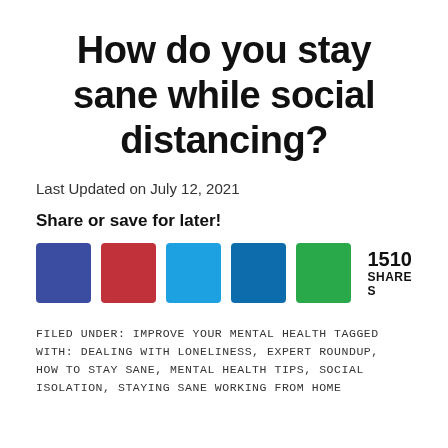How do you stay sane while social distancing?
Last Updated on July 12, 2021
Share or save for later!
[Figure (infographic): Five social share buttons (Facebook blue, Pinterest red, Twitter light blue, LinkedIn dark blue, green share button) followed by share count showing 1510 SHARES]
FILED UNDER: IMPROVE YOUR MENTAL HEALTH TAGGED WITH: DEALING WITH LONELINESS, EXPERT ROUNDUP, HOW TO STAY SANE, MENTAL HEALTH TIPS, SOCIAL ISOLATION, STAYING SANE WORKING FROM HOME